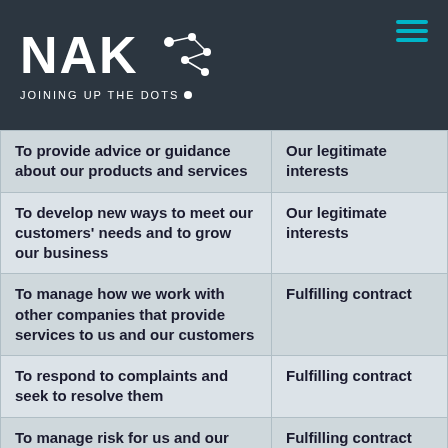[Figure (logo): NAKO logo with 'JOINING UP THE DOTS' tagline on dark background, with hamburger menu icon in teal]
| Purpose | Lawful basis |
| --- | --- |
| To provide advice or guidance about our products and services | Our legitimate interests |
| To develop new ways to meet our customers' needs and to grow our business | Our legitimate interests |
| To manage how we work with other companies that provide services to us and our customers | Fulfilling contract |
| To respond to complaints and seek to resolve them | Fulfilling contract |
| To manage risk for us and our customers | Fulfilling contract |
| To make and manage customer payments | Fulfilling contract |
| To manage fees, charges and interest due on customer accounts | Fulfilling contract |